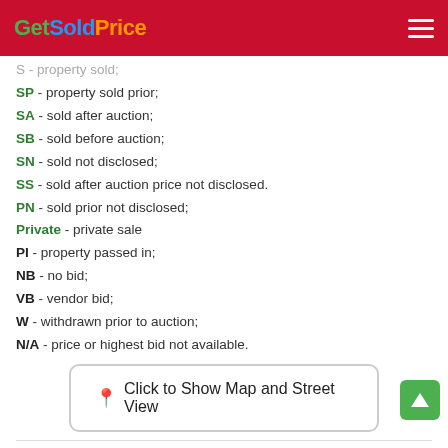GetSoldPrice
S - property sold;
SP - property sold prior;
SA - sold after auction;
SB - sold before auction;
SN - sold not disclosed;
SS - sold after auction price not disclosed.
PN - sold prior not disclosed;
Private - private sale
PI - property passed in;
NB - no bid;
VB - vendor bid;
W - withdrawn prior to auction;
N/A - price or highest bid not available.
Click to Show Map and Street View
Hawthorn, VIC 3122
( 5.24 km to CBD)